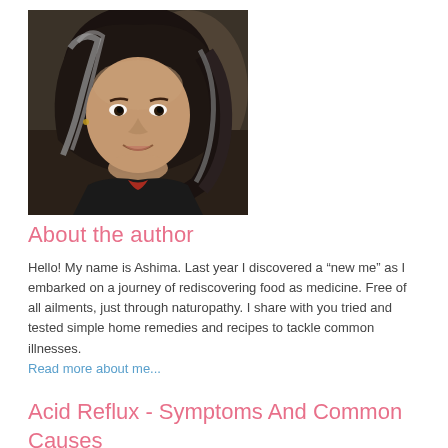[Figure (photo): Portrait photo of a woman with long dark and gray hair, smiling, wearing a dark top]
About the author
Hello! My name is Ashima. Last year I discovered a “new me” as I embarked on a journey of rediscovering food as medicine. Free of all ailments, just through naturopathy. I share with you tried and tested simple home remedies and recipes to tackle common illnesses.
Read more about me...
Acid Reflux - Symptoms And Common Causes